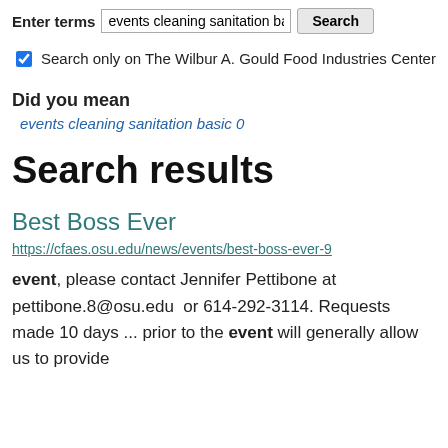Enter terms  events cleaning sanitation ba  Search
Search only on The Wilbur A. Gould Food Industries Center
Did you mean
events cleaning sanitation basic 0
Search results
Best Boss Ever
https://cfaes.osu.edu/news/events/best-boss-ever-9
event, please contact Jennifer Pettibone at pettibone.8@osu.edu  or 614-292-3114. Requests made 10 days ... prior to the event will generally allow us to provide